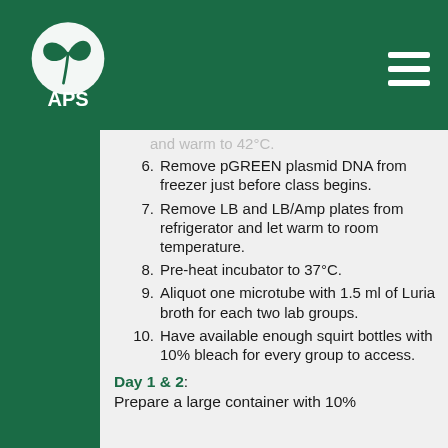APS logo and navigation header
5. [partial] in water bath with distilled water and warm to 42°C.
6. Remove pGREEN plasmid DNA from freezer just before class begins.
7. Remove LB and LB/Amp plates from refrigerator and let warm to room temperature.
8. Pre-heat incubator to 37°C.
9. Aliquot one microtube with 1.5 ml of Luria broth for each two lab groups.
10. Have available enough squirt bottles with 10% bleach for every group to access.
Day 1 & 2: Prepare a large container with 10%